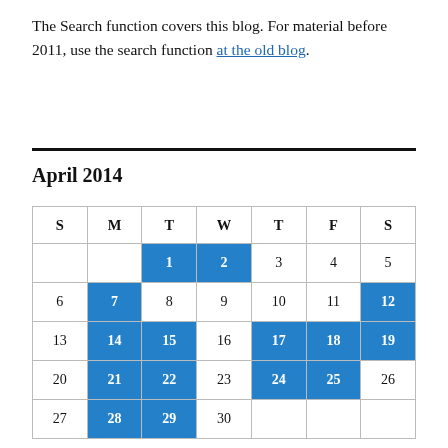The Search function covers this blog. For material before 2011, use the search function at the old blog.
April 2014
| S | M | T | W | T | F | S |
| --- | --- | --- | --- | --- | --- | --- |
|  |  | 1 | 2 | 3 | 4 | 5 |
| 6 | 7 | 8 | 9 | 10 | 11 | 12 |
| 13 | 14 | 15 | 16 | 17 | 18 | 19 |
| 20 | 21 | 22 | 23 | 24 | 25 | 26 |
| 27 | 28 | 29 | 30 |  |  |  |